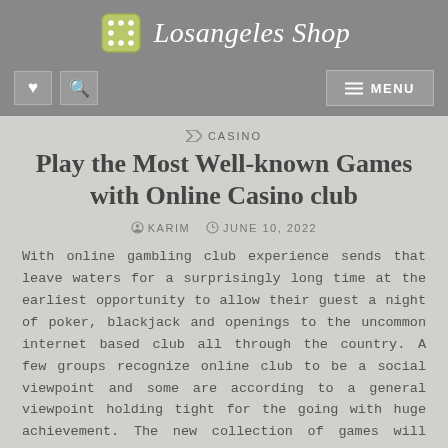Losangeles Shop
Play the Most Well-known Games with Online Casino club
KARIM   JUNE 10, 2022
With online gambling club experience sends that leave waters for a surprisingly long time at the earliest opportunity to allow their guest a night of poker, blackjack and openings to the uncommon internet based club all through the country. A few groups recognize online club to be a social viewpoint and some are according to a general viewpoint holding tight for the going with huge achievement. The new collection of games will promise you will find in any occasion one you like to play or watch. Similarly the agreeable round of Poker you could